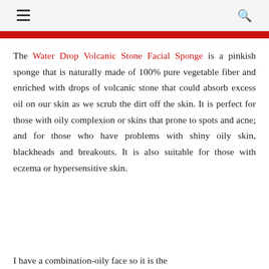[hamburger menu] [search icon]
[Figure (other): Red banner strip at top of content area]
The Water Drop Volcanic Stone Facial Sponge is a pinkish sponge that is naturally made of 100% pure vegetable fiber and enriched with drops of volcanic stone that could absorb excess oil on our skin as we scrub the dirt off the skin. It is perfect for those with oily complexion or skins that prone to spots and acne; and for those who have problems with shiny oily skin, blackheads and breakouts. It is also suitable for those with eczema or hypersensitive skin.
I have a combination-oily face so it is the